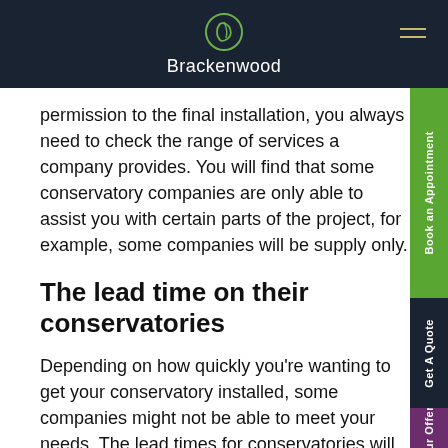Brackenwood
permission to the final installation, you always need to check the range of services a company provides. You will find that some conservatory companies are only able to assist you with certain parts of the project, for example, some companies will be supply only.
The lead time on their conservatories
Depending on how quickly you're wanting to get your conservatory installed, some companies might not be able to meet your needs. The lead times for conservatories will differ from company